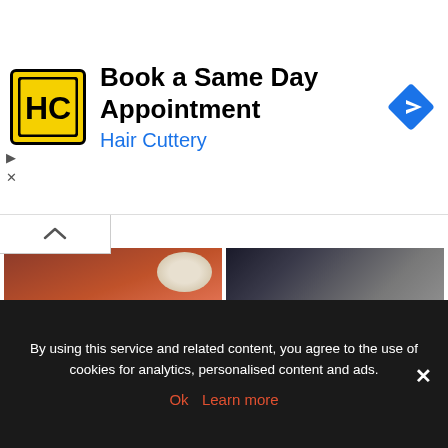[Figure (screenshot): Hair Cuttery advertisement banner with logo, title 'Book a Same Day Appointment', subtitle 'Hair Cuttery', and blue navigation arrow icon]
[Figure (photo): Sashimi dish with sliced raw fish on a green plate with dipping sauces]
[Figure (photo): Airline food tray with multiple dishes including a burger, sides, and drinks]
How to eat Sashimi like a local?
Why does airline food taste weird on an airplane?
By using this service and related content, you agree to the use of cookies for analytics, personalised content and ads.
Ok  Learn more